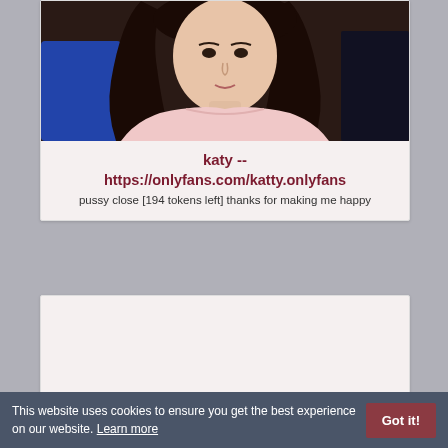[Figure (photo): Person with long dark hair wearing a light pink off-shoulder top, shown from shoulders up, webcam-style photo]
katy -- https://onlyfans.com/katty.onlyfans
pussy close [194 tokens left] thanks for making me happy
This website uses cookies to ensure you get the best experience on our website. Learn more
Got it!